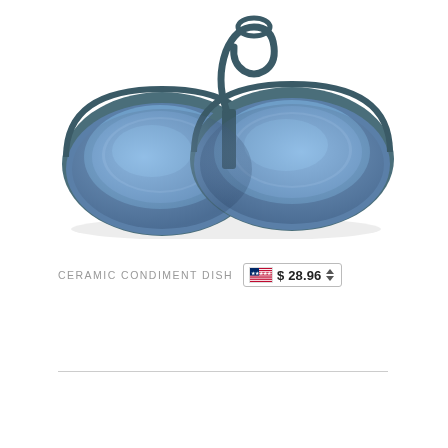[Figure (photo): A blue glazed ceramic condiment dish with two round bowls joined together and a loop handle at the top, photographed on a white background.]
CERAMIC CONDIMENT DISH  $28.96
——